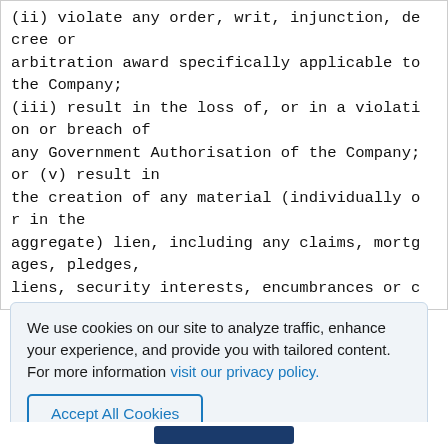(ii) violate any order, writ, injunction, decree or arbitration award specifically applicable to the Company; (iii) result in the loss of, or in a violation or breach of any Government Authorisation of the Company; or (v) result in the creation of any material (individually or in the aggregate) lien, including any claims, mortgages, pledges, liens, security interests, encumbrances or c
We use cookies on our site to analyze traffic, enhance your experience, and provide you with tailored content.
For more information visit our privacy policy.

Accept All Cookies